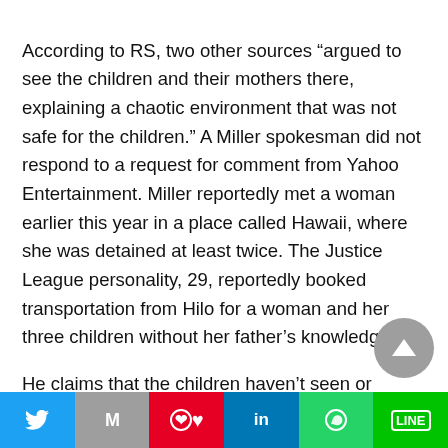According to RS, two other sources “argued to see the children and their mothers there, explaining a chaotic environment that was not safe for the children.” A Miller spokesman did not respond to a request for comment from Yahoo Entertainment. Miller reportedly met a woman earlier this year in a place called Hawaii, where she was detained at least twice. The Justice League personality, 29, reportedly booked transportation from Hilo for a woman and her three children without her father’s knowledge.

He claims that the children haven’t seen or talked to them since they left his house with him in April
Twitter | Gmail | Pinterest | LinkedIn | WhatsApp | LINE